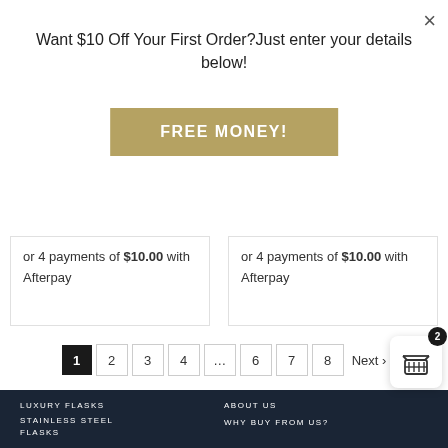Want $10 Off Your First Order?Just enter your details below!
FREE MONEY!
or 4 payments of $10.00 with Afterpay
or 4 payments of $10.00 with Afterpay
1 2 3 4 ... 6 7 8 Next >
LUXURY FLASKS
STAINLESS STEEL FLASKS
PERSONALISED FLASKS
ABOUT US
WHY BUY FROM US?
PAYMENT OPTIONS
EXCHANGES & REFUNDS